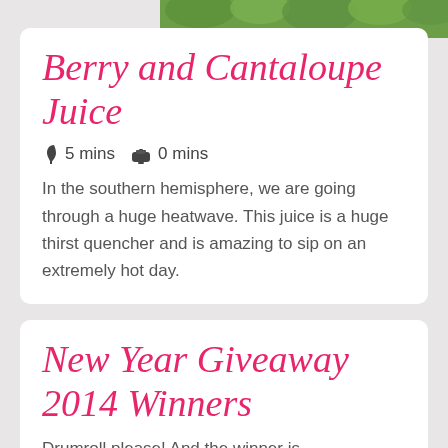[Figure (photo): Green herbs/leaves photo strip at top of card]
Berry and Cantaloupe Juice
5 mins  0 mins
In the southern hemisphere, we are going through a huge heatwave. This juice is a huge thirst quencher and is amazing to sip on an extremely hot day.
New Year Giveaway 2014 Winners
Drumroll please! And the winner is....